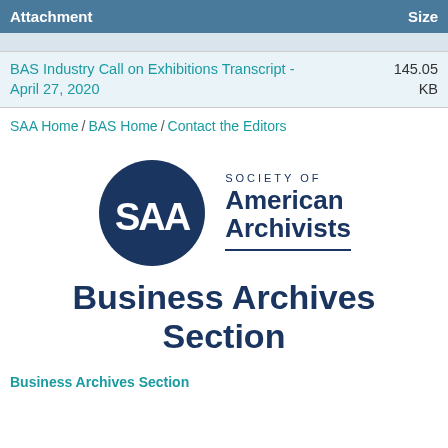| Attachment | Size |
| --- | --- |
|  |  |
| BAS Industry Call on Exhibitions Transcript - April 27, 2020 | 145.05 KB |
SAA Home / BAS Home / Contact the Editors
[Figure (logo): Society of American Archivists - Business Archives Section logo. Dark blue circle with SAA letters, text 'SOCIETY OF American Archivists' to the right, and 'Business Archives Section' below.]
Business Archives Section